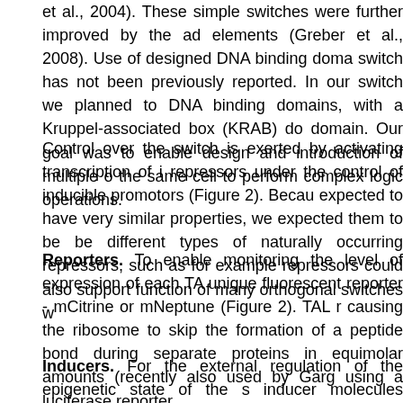et al., 2004). These simple switches were further improved by the ad elements (Greber et al., 2008). Use of designed DNA binding doma switch has not been previously reported. In our switch we planned to DNA binding domains, with a Kruppel-associated box (KRAB) do domain. Our goal was to enable design and introduction of multiple o the same cell to perform complex logic operations.
Control over the switch is exerted by activating transcription of i repressors under the control of inducible promotors (Figure 2). Becau expected to have very similar properties, we expected them to be be different types of naturally occurring repressors, such as for example repressors could also support function of many orthogonal switches w
Reporters. To enable monitoring the level of expression of each TA unique fluorescent reporter - mCitrine or mNeptune (Figure 2). TAL r causing the ribosome to skip the formation of a peptide bond during separate proteins in equimolar amounts (recently also used by Garg using a luciferase reporter.
Inducers. For the external regulation of the epigenetic state of the s inducer molecules (pristinamycin, doxycycline, erythromycin, rapam inducers triggers expression of TAL repressors or activators that can b